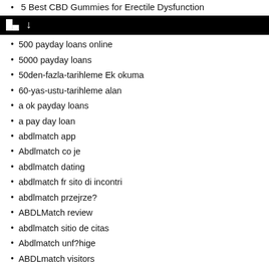5 Best CBD Gummies for Erectile Dysfunction
C~
500 payday loans online
5000 payday loans
50den-fazla-tarihleme Ek okuma
60-yas-ustu-tarihleme alan
a ok payday loans
a pay day loan
abdlmatch app
Abdlmatch co je
abdlmatch dating
abdlmatch fr sito di incontri
abdlmatch przejrze?
ABDLMatch review
abdlmatch sitio de citas
Abdlmatch unf?hige
ABDLmatch visitors
abdlmatch-overzicht online dating
abdlmatch-overzicht Review
abdlmatch-recenze PE™ihlГЎsit se
abilene escort
abilene escort index
abilene escort listings
abilene escort sites